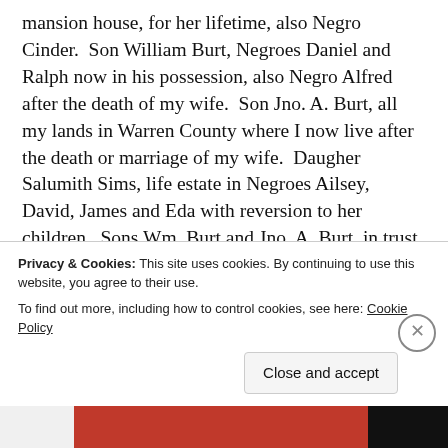mansion house, for her lifetime, also Negro Cinder.  Son William Burt, Negroes Daniel and Ralph now in his possession, also Negro Alfred after the death of my wife.  Son Jno. A. Burt, all my lands in Warren County where I now live after the death or marriage of my wife.  Daugher Salumith Sims, life estate in Negroes Ailsey, David, James and Eda with reversion to her children.  Sons Wm. Burt and Jno. A. Burt, in trust for my daughter Lucretia A. Garrett, Negroes Jesse,
Privacy & Cookies: This site uses cookies. By continuing to use this website, you agree to their use.
To find out more, including how to control cookies, see here: Cookie Policy